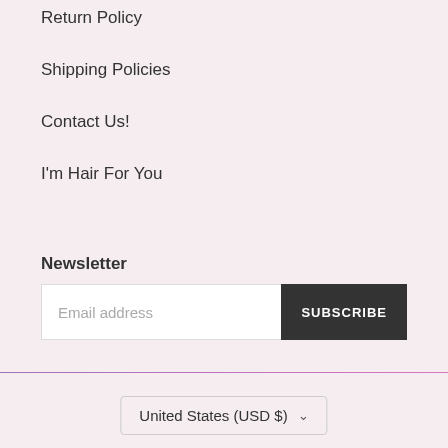Return Policy
Shipping Policies
Contact Us!
I'm Hair For You
Newsletter
Email address
SUBSCRIBE
United States (USD $)